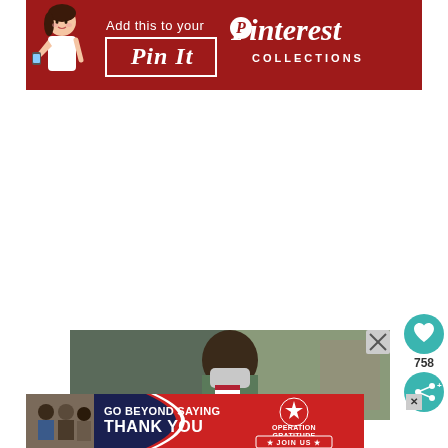[Figure (screenshot): Pinterest 'Pin It' banner advertisement with illustrated woman character on dark red background. Text reads 'Add this to your Pin It Pinterest COLLECTIONS']
[Figure (screenshot): Floating teal circular heart button with like count 758 and share button below it on right side]
758
[Figure (photo): Military soldier wearing face mask and camouflage uniform, close-up photo]
[Figure (screenshot): Operation Gratitude advertisement banner: 'GO BEYOND SAYING THANK YOU' with Operation Gratitude logo and JOIN US button, dark blue/navy background]
[Figure (photo): Small thumbnail image bottom left showing people in a crowd scene]